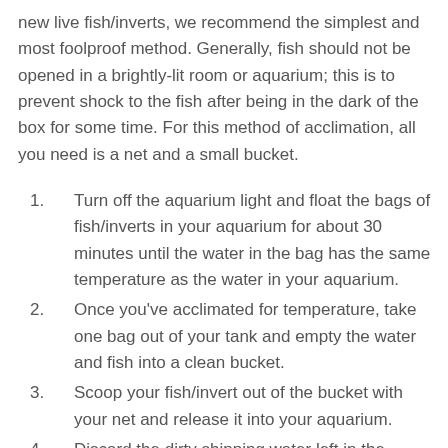new live fish/inverts, we recommend the simplest and most foolproof method. Generally, fish should not be opened in a brightly-lit room or aquarium; this is to prevent shock to the fish after being in the dark of the box for some time. For this method of acclimation, all you need is a net and a small bucket.
Turn off the aquarium light and float the bags of fish/inverts in your aquarium for about 30 minutes until the water in the bag has the same temperature as the water in your aquarium.
Once you've acclimated for temperature, take one bag out of your tank and empty the water and fish into a clean bucket.
Scoop your fish/invert out of the bucket with your net and release it into your aquarium.
Discard the dirty shipping water left in the bucket.